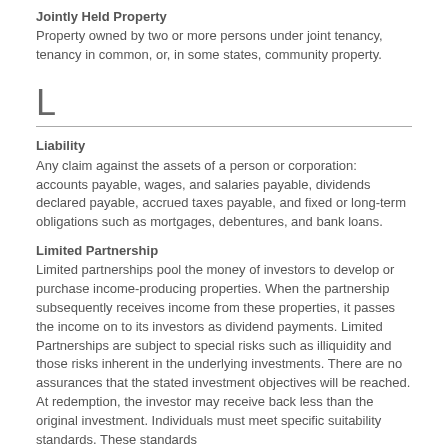Jointly Held Property
Property owned by two or more persons under joint tenancy, tenancy in common, or, in some states, community property.
L
Liability
Any claim against the assets of a person or corporation: accounts payable, wages, and salaries payable, dividends declared payable, accrued taxes payable, and fixed or long-term obligations such as mortgages, debentures, and bank loans.
Limited Partnership
Limited partnerships pool the money of investors to develop or purchase income-producing properties. When the partnership subsequently receives income from these properties, it passes the income on to its investors as dividend payments. Limited Partnerships are subject to special risks such as illiquidity and those risks inherent in the underlying investments. There are no assurances that the stated investment objectives will be reached. At redemption, the investor may receive back less than the original investment. Individuals must meet specific suitability standards. These standards